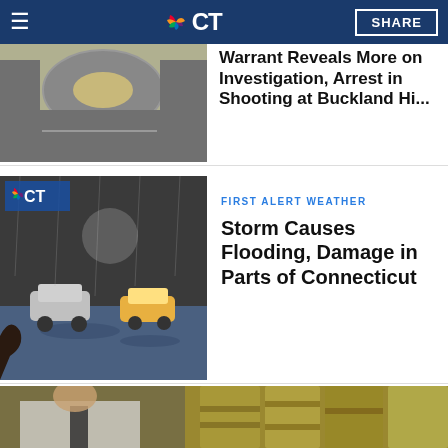NBC CT
Warrant Reveals More on Investigation, Arrest in Shooting at Buckland Hi...
[Figure (photo): Roundabout aerial or parking lot view, partially visible news thumbnail]
FIRST ALERT WEATHER
Storm Causes Flooding, Damage in Parts of Connecticut
[Figure (photo): Flooded street with cars in water, NBC CT logo overlay]
[Figure (photo): Man in white shirt near large stacks of US dollar bills]